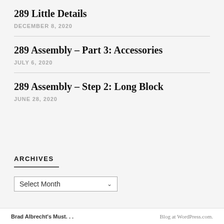289 Little Details
DECEMBER 8, 2020
289 Assembly – Part 3: Accessories
JULY 6, 2020
289 Assembly – Step 2: Long Block
JUNE 28, 2020
ARCHIVES
Select Month
Brad Albrecht's Must… | Blog at WordPress.com.